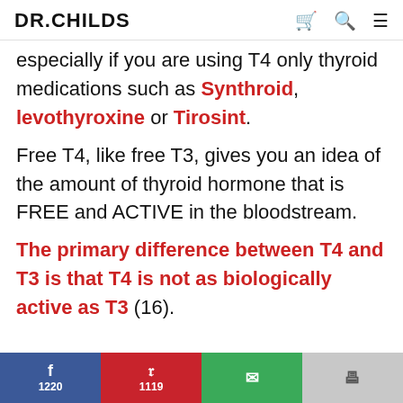DR.CHILDS
especially if you are using T4 only thyroid medications such as Synthroid, levothyroxine or Tirosint.
Free T4, like free T3, gives you an idea of the amount of thyroid hormone that is FREE and ACTIVE in the bloodstream.
The primary difference between T4 and T3 is that T4 is not as biologically active as T3 (16).
f 1220 | P 1119 | mail | print